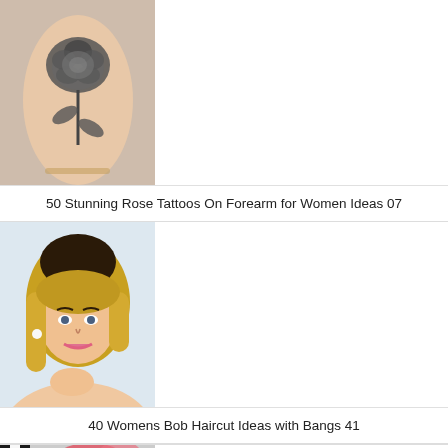[Figure (photo): Close-up photo of a forearm with a black and grey rose tattoo]
50 Stunning Rose Tattoos On Forearm for Women Ideas 07
[Figure (photo): Portrait photo of a young woman with a blonde bob haircut and bangs]
40 Womens Bob Haircut Ideas with Bangs 41
[Figure (photo): Partial view of a colorful rose tattoo on an arm, visible at bottom of page]